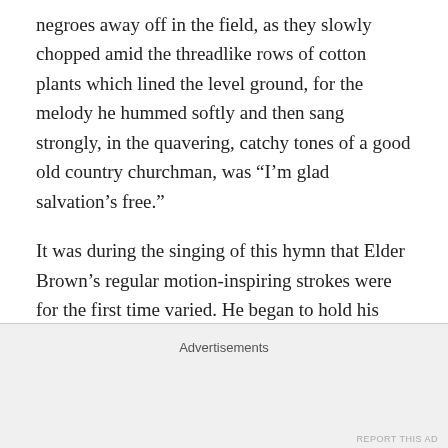negroes away off in the field, as they slowly chopped amid the threadlike rows of cotton plants which lined the level ground, for the melody he hummed softly and then sang strongly, in the quavering, catchy tones of a good old country churchman, was “I’m glad salvation’s free.”
It was during the singing of this hymn that Elder Brown’s regular motion-inspiring strokes were for the first time varied. He began to hold his hickory up at certain pauses in the melody, and beat the changes upon the sides of his astonished steed. The chorus under this arrangement was:
I’m glad salvation’s free,
Advertisements